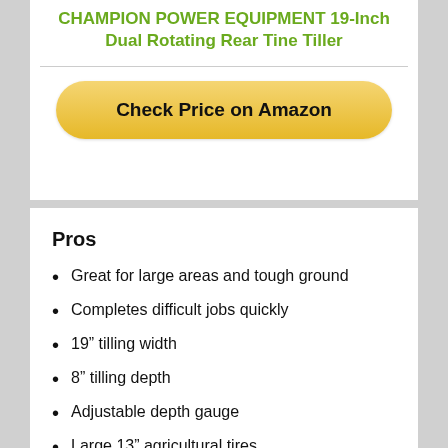CHAMPION POWER EQUIPMENT 19-Inch Dual Rotating Rear Tine Tiller
[Figure (other): Check Price on Amazon button (golden/yellow rounded rectangle button)]
Pros
Great for large areas and tough ground
Completes difficult jobs quickly
19” tilling width
8” tilling depth
Adjustable depth gauge
Large 13” agricultural tires